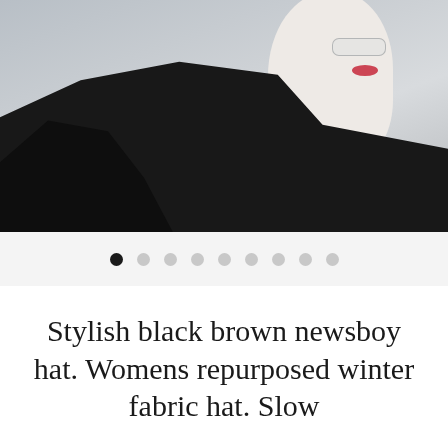[Figure (photo): A mannequin wearing a black turtleneck or collared jacket, shown from shoulders up in profile/three-quarter view. The mannequin has pale/white skin, red lips, and appears to be wearing glasses. Background is light grey.]
● ○ ○ ○ ○ ○ ○ ○ ○ (image carousel dots, first dot active)
Stylish black brown newsboy hat. Womens repurposed winter fabric hat. Slow